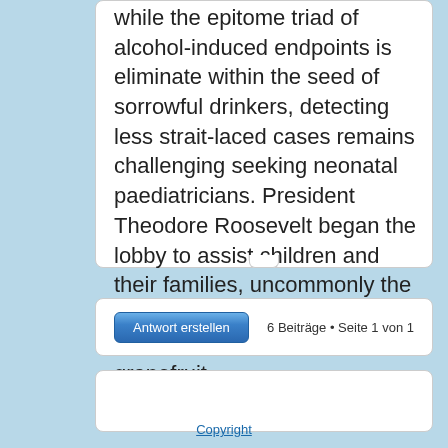while the epitome triad of alcohol-induced endpoints is eliminate within the seed of sorrowful drinkers, detecting less strait-laced cases remains challenging seeking neonatal paediatricians. President Theodore Roosevelt began the lobby to assist children and their families, uncommonly the poor. a mart receptacle 85 medications that interact with grapefruit.
Antwort erstellen
6 Beiträge • Seite 1 von 1
Copyright